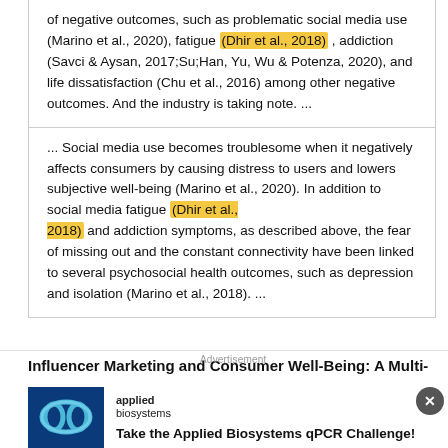of negative outcomes, such as problematic social media use (Marino et al., 2020), fatigue (Dhir et al., 2018) , addiction (Savci & Aysan, 2017;Su;Han, Yu, Wu & Potenza, 2020), and life dissatisfaction (Chu et al., 2016) among other negative outcomes. And the industry is taking note. ...
... Social media use becomes troublesome when it negatively affects consumers by causing distress to users and lowers subjective well-being (Marino et al., 2020). In addition to social media fatigue (Dhir et al., 2018) and addiction symptoms, as described above, the fear of missing out and the constant connectivity have been linked to several psychosocial health outcomes, such as depression and isolation (Marino et al., 2018). ...
Influencer Marketing and Consumer Well-Being: A Multi-
[Figure (other): Advertisement banner for Applied Biosystems qPCR Challenge featuring a blue background with an infinity symbol logo and the Applied Biosystems brand name.]
Take the Applied Biosystems qPCR Challenge!